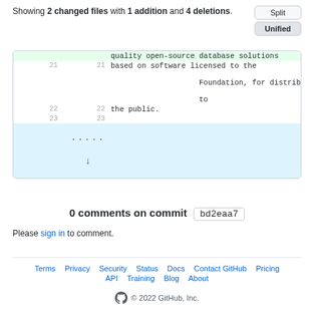Showing 2 changed files with 1 addition and 4 deletions.
| old | new | code |
| --- | --- | --- |
|  |  | quality open-source database solutions |
| 21 | 21 | based on software licensed to the Foundation, for distribution at no charge to |
| 22 | 22 | the public. |
| 23 | 23 |  |
0 comments on commit bd2eaa7
Please sign in to comment.
Terms  Privacy  Security  Status  Docs  Contact GitHub  Pricing  API  Training  Blog  About  © 2022 GitHub, Inc.